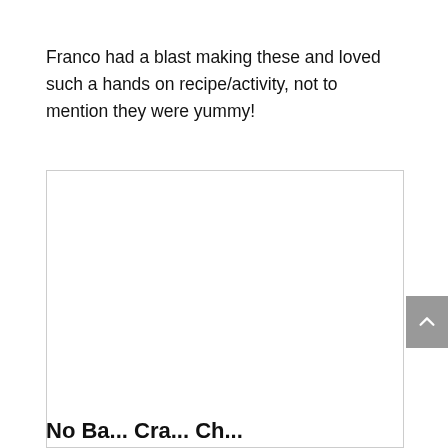Franco had a blast making these and loved such a hands on recipe/activity, not to mention they were yummy!
[Figure (other): A white rectangular card/embed box with a light gray border, mostly empty/white content area, partially cropped at the bottom.]
No Ba... Cra... Ch...